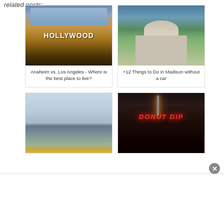related posts:
[Figure (photo): Aerial view of the Hollywood sign on a hillside in Los Angeles with brown hills and mountains in the background]
Anaheim vs. Los Angeles - Where is the best place to live?
[Figure (photo): Aerial view of the Wisconsin State Capitol building in Madison, surrounded by trees and city blocks, with a lake visible in the background]
+12 Things to Do in Madison without a car
[Figure (photo): City skyline with tall buildings and a yellow van/taxi in the foreground]
[Figure (photo): Night-time photo of a Donut Dip restaurant with neon sign lit in red, a street lamp glowing orange overhead]